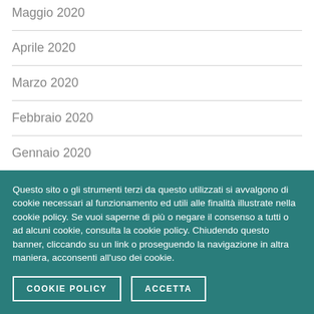Maggio 2020
Aprile 2020
Marzo 2020
Febbraio 2020
Gennaio 2020
Dicembre 2019
Questo sito o gli strumenti terzi da questo utilizzati si avvalgono di cookie necessari al funzionamento ed utili alle finalità illustrate nella cookie policy. Se vuoi saperne di più o negare il consenso a tutti o ad alcuni cookie, consulta la cookie policy. Chiudendo questo banner, cliccando su un link o proseguendo la navigazione in altra maniera, acconsenti all'uso dei cookie.
COOKIE POLICY   ACCETTA